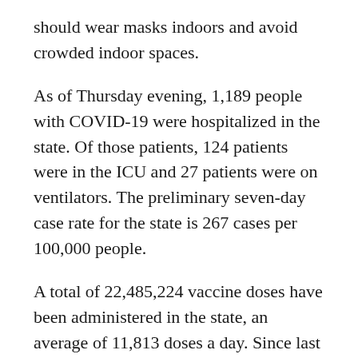should wear masks indoors and avoid crowded indoor spaces.
As of Thursday evening, 1,189 people with COVID-19 were hospitalized in the state. Of those patients, 124 patients were in the ICU and 27 patients were on ventilators. The preliminary seven-day case rate for the state is 267 cases per 100,000 people.
A total of 22,485,224 vaccine doses have been administered in the state, an average of 11,813 doses a day. Since last week, 82,691 doses reportedly have been administered.
At least 76% of the state’s population has received at least one COVID-19 vaccine dose, while 69% of the